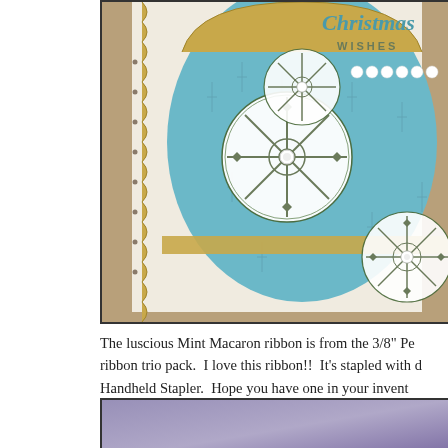[Figure (photo): Close-up photo of a handmade Christmas card featuring snowflake embellishments on teal/light blue patterned paper with gold scalloped border, pearl accents, and 'Christmas Wishes' text visible at top right.]
The luscious Mint Macaron ribbon is from the 3/8" Pe ribbon trio pack.  I love this ribbon!!  It's stapled with d Handheld Stapler.  Hope you have one in your invent
[Figure (photo): Partial view of another photo at the bottom of the page, showing a blurred purple/lavender background.]